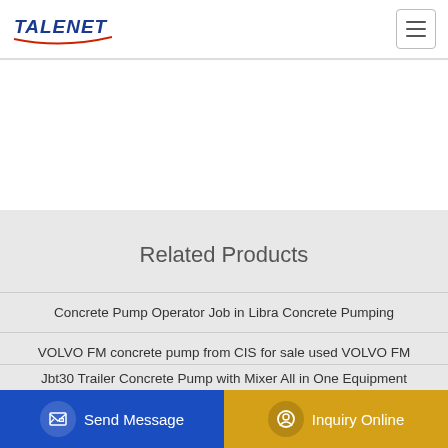TALENET
Related Products
Concrete Pump Operator Job in Libra Concrete Pumping
VOLVO FM concrete pump from CIS for sale used VOLVO FM
New and used concrete pump trucks from China for sale buy
Jbt30 Trailer Concrete Pump with Mixer All in One Equipment
Send Message | Inquiry Online